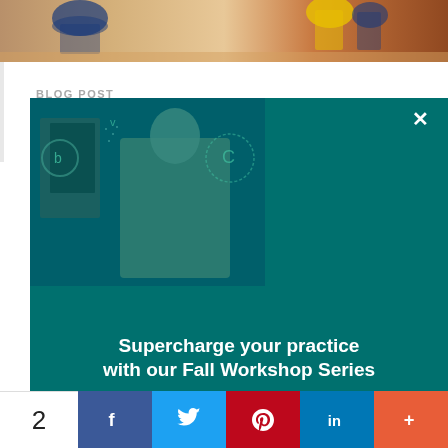[Figure (photo): Top banner image showing colorful exercise/balance equipment items on a wooden floor - blue and yellow cones/domes]
BLOG POST
For policymakers
[Figure (screenshot): Modal popup overlay on teal/green background showing a woman working at a computer desk with global data visualization overlay. Modal contains title text and enroll button. Close (X) button in top right corner.]
Supercharge your practice with our Fall Workshop Series
ENROLL NOW
2  [Facebook] [Twitter] [Pinterest] [LinkedIn] [+]